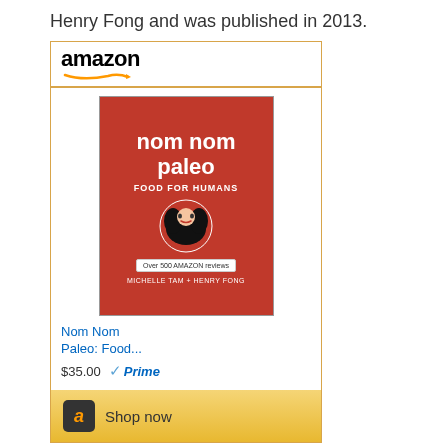Henry Fong and was published in 2013.
[Figure (screenshot): Amazon widget showing the book 'Nom Nom Paleo: Food for Humans' by Michelle Tam and Henry Fong, priced at $35.00 with Prime, and a 'Shop now' button.]
The book contains over 100 recipes along with beautiful photographs and step by step images plus a sense of humor.